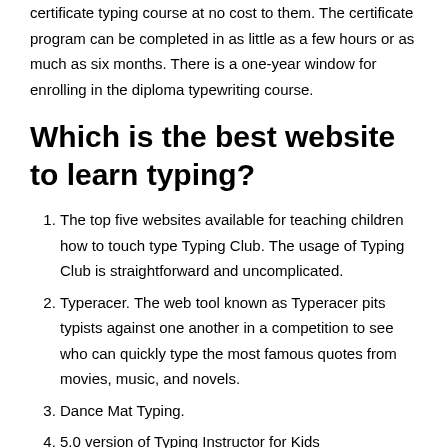certificate typing course at no cost to them. The certificate program can be completed in as little as a few hours or as much as six months. There is a one-year window for enrolling in the diploma typewriting course.
Which is the best website to learn typing?
The top five websites available for teaching children how to touch type Typing Club. The usage of Typing Club is straightforward and uncomplicated.
Typeracer. The web tool known as Typeracer pits typists against one another in a competition to see who can quickly type the most famous quotes from movies, music, and novels.
Dance Mat Typing.
5.0 version of Typing Instructor for Kids
Ratatype